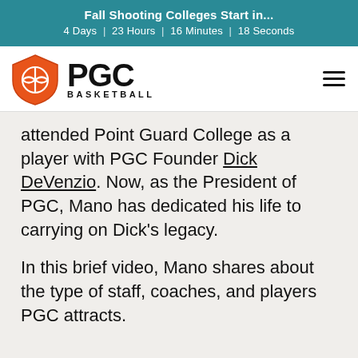Fall Shooting Colleges Start in... 4 Days | 23 Hours | 16 Minutes | 18 Seconds
[Figure (logo): PGC Basketball logo with orange shield and basketball icon, bold PGC text and BASKETBALL subtitle]
attended Point Guard College as a player with PGC Founder Dick DeVenzio. Now, as the President of PGC, Mano has dedicated his life to carrying on Dick’s legacy.
In this brief video, Mano shares about the type of staff, coaches, and players PGC attracts.